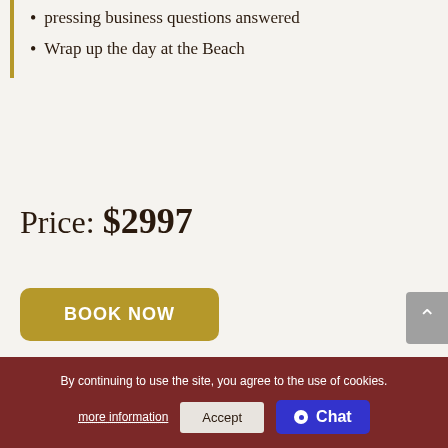pressing business questions answered
Wrap up the day at the Beach
Price: $2997
BOOK NOW
By continuing to use the site, you agree to the use of cookies.
more information
Accept
Chat